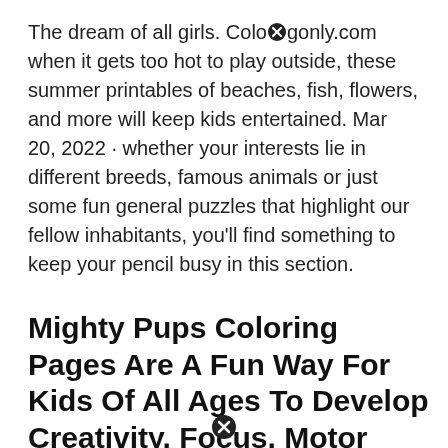The dream of all girls. Coloringonly.com when it gets too hot to play outside, these summer printables of beaches, fish, flowers, and more will keep kids entertained. Mar 20, 2022 · whether your interests lie in different breeds, famous animals or just some fun general puzzles that highlight our fellow inhabitants, you'll find something to keep your pencil busy in this section.
Mighty Pups Coloring Pages Are A Fun Way For Kids Of All Ages To Develop Creativity, Focus, Motor Skills And Color Recognition.